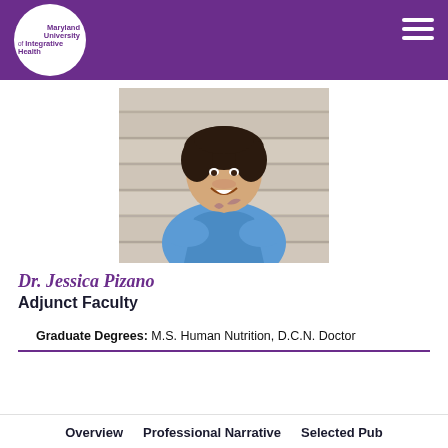Maryland University of Integrative Health
[Figure (photo): Professional headshot of Dr. Jessica Pizano, a woman with short curly dark hair wearing a blue top, leaning against a wooden wall background, smiling.]
Dr. Jessica Pizano
Adjunct Faculty
Graduate Degrees: M.S. Human Nutrition, D.C.N. Doctor
Overview   Professional Narrative   Selected Pub